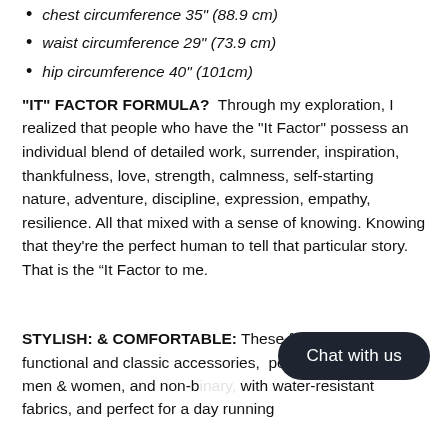chest circumference 35" (88.9 cm)
waist circumference 29" (73.9 cm)
hip circumference 40" (101cm)
"IT" FACTOR FORMULA?  Through my exploration, I realized that people who have the "It Factor" possess an individual blend of detailed work, surrender, inspiration, thankfulness, love, strength, calmness, self-starting nature, adventure, discipline, expression, empathy, resilience. All that mixed with a sense of knowing. Knowing that they're the perfect human to tell that particular story. That is the “It Factor to me.
STYLISH: & COMFORTABLE: These fanny packs are functional and classic accessories,  per[…]or all humans, men & women, and non-b[…] with water-resistant fabrics, and perfect for a day running […]